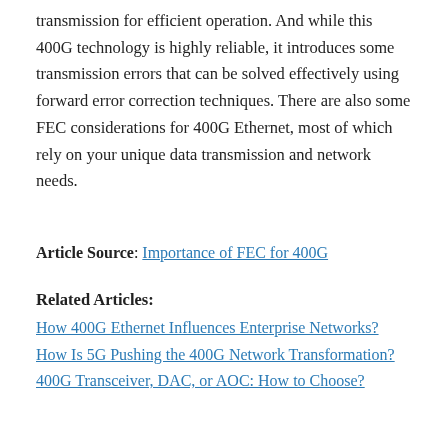transmission for efficient operation. And while this 400G technology is highly reliable, it introduces some transmission errors that can be solved effectively using forward error correction techniques. There are also some FEC considerations for 400G Ethernet, most of which rely on your unique data transmission and network needs.
Article Source: Importance of FEC for 400G
Related Articles:
How 400G Ethernet Influences Enterprise Networks?
How Is 5G Pushing the 400G Network Transformation?
400G Transceiver, DAC, or AOC: How to Choose?